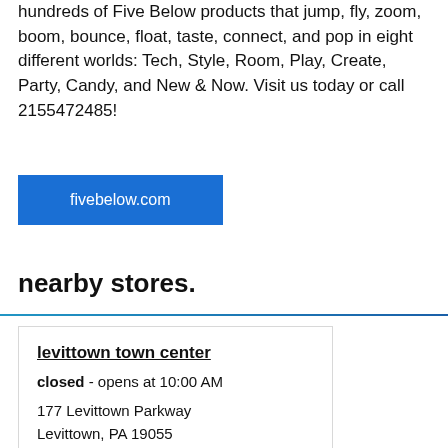hundreds of Five Below products that jump, fly, zoom, boom, bounce, float, taste, connect, and pop in eight different worlds: Tech, Style, Room, Play, Create, Party, Candy, and New & Now. Visit us today or call 2155472485!
fivebelow.com
nearby stores.
levittown town center
closed - opens at 10:00 AM
177 Levittown Parkway
Levittown, PA 19055